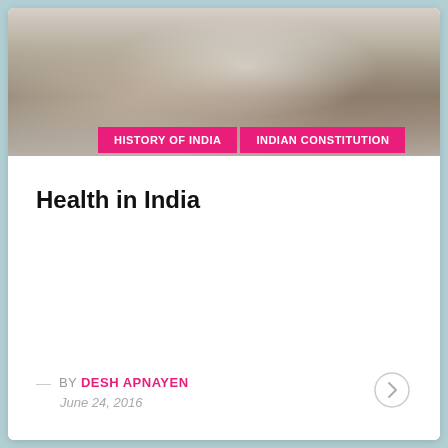[Figure (photo): Medical/healthcare photo showing a doctor in a white coat with a patient in a clinical setting]
HISTORY OF INDIA   INDIAN CONSTITUTION
Health in India
— BY DESH APNAYEN
June 24, 2016